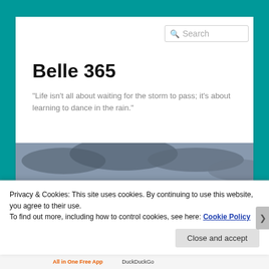Belle 365
"Life isn't all about waiting for the storm to pass; it's about learning to dance in the rain."
[Figure (photo): Woman sitting on the end of a dock over turquoise ocean water under a cloudy sky, viewed from behind.]
Privacy & Cookies: This site uses cookies. By continuing to use this website, you agree to their use.
To find out more, including how to control cookies, see here: Cookie Policy
Close and accept